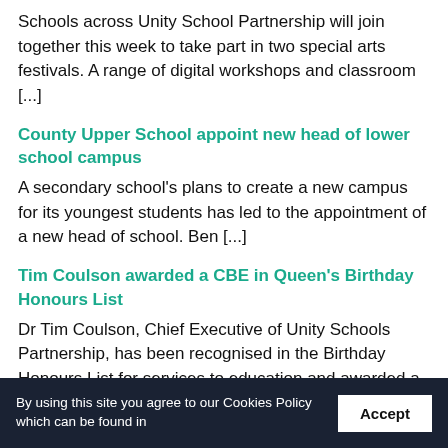Schools across Unity School Partnership will join together this week to take part in two special arts festivals. A range of digital workshops and classroom [...]
County Upper School appoint new head of lower school campus
A secondary school's plans to create a new campus for its youngest students has led to the appointment of a new head of school. Ben [...]
Tim Coulson awarded a CBE in Queen's Birthday Honours List
Dr Tim Coulson, Chief Executive of Unity Schools Partnership, has been recognised in the Birthday Honours List for services to education and awarded a CBE. [...]
By using this site you agree to our Cookies Policy which can be found in